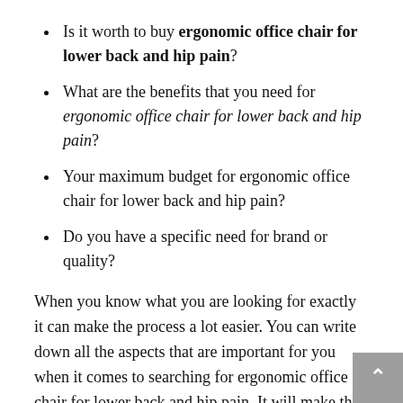Is it worth to buy ergonomic office chair for lower back and hip pain?
What are the benefits that you need for ergonomic office chair for lower back and hip pain?
Your maximum budget for ergonomic office chair for lower back and hip pain?
Do you have a specific need for brand or quality?
When you know what you are looking for exactly it can make the process a lot easier. You can write down all the aspects that are important for you when it comes to searching for ergonomic office chair for lower back and hip pain. It will make the